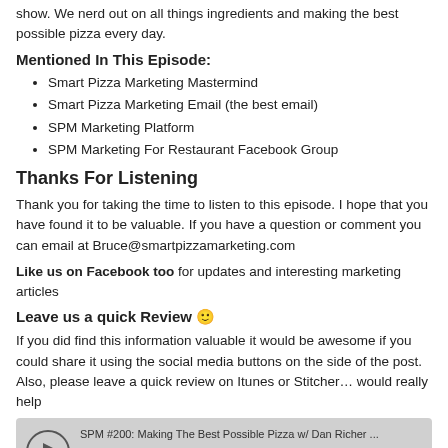show. We nerd out on all things ingredients and making the best possible pizza every day.
Mentioned In This Episode:
Smart Pizza Marketing Mastermind
Smart Pizza Marketing Email (the best email)
SPM Marketing Platform
SPM Marketing For Restaurant Facebook Group
Thanks For Listening
Thank you for taking the time to listen to this episode. I hope that you have found it to be valuable. If you have a question or comment you can email at Bruce@smartpizzamarketing.com
Like us on Facebook too for updates and interesting marketing articles
Leave us a quick Review 🙂
If you did find this information valuable it would be awesome if you could share it using the social media buttons on the side of the post. Also, please leave a quick review on Itunes or Stitcher… would really help
[Figure (other): Libsyn audio player widget for SPM #200: Making The Best Possible Pizza w/ Dan Richer ...]
Download this Episode